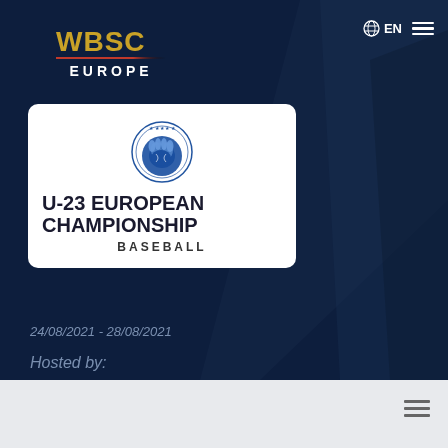[Figure (logo): WBSC Europe logo with gold WBSC text, red underline, and white EUROPE text below]
EN
[Figure (logo): Confederation of European Baseball circular badge logo with baseball glove]
U-23 EUROPEAN CHAMPIONSHIP BASEBALL
24/08/2021 - 28/08/2021
Hosted by: